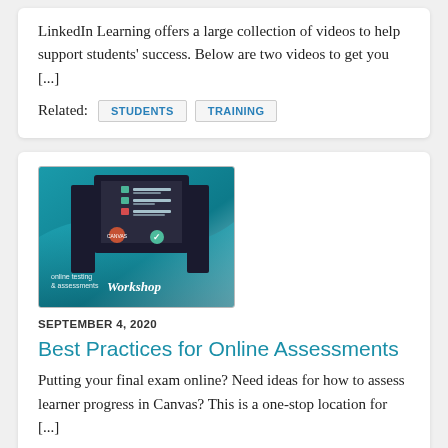LinkedIn Learning offers a large collection of videos to help support students' success. Below are two videos to get you [...]
Related: STUDENTS TRAINING
[Figure (illustration): Online testing & assessments Workshop banner image showing a checklist on a dark device screen with teal wave background]
SEPTEMBER 4, 2020
Best Practices for Online Assessments
Putting your final exam online? Need ideas for how to assess learner progress in Canvas? This is a one-stop location for [...]
Related: FACULTY TRAINING